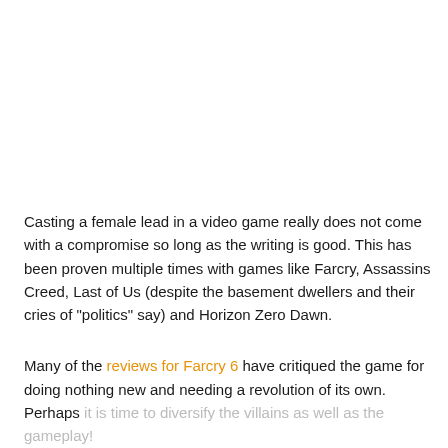Casting a female lead in a video game really does not come with a compromise so long as the writing is good. This has been proven multiple times with games like Farcry, Assassins Creed, Last of Us (despite the basement dwellers and their cries of "politics" say) and Horizon Zero Dawn.
Many of the reviews for Farcry 6 have critiqued the game for doing nothing new and needing a revolution of its own. Perhaps it is time to diversify the villains as well as the gameplay!